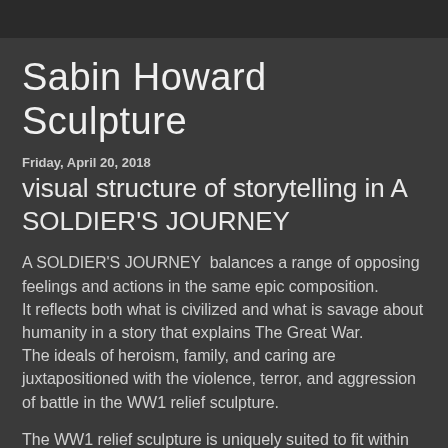Sabin Howard Sculpture
Sabin Howard Sculpture
Friday, April 20, 2018
visual structure of storytelling in A SOLDIER'S JOURNEY
A SOLDIER'S JOURNEY  balances a range of opposing feelings and actions in the same epic composition. It reflects both what is civilized and what is savage about humanity in a story that explains The Great War. The ideals of heroism, family, and caring are juxtapositioned with the violence, terror, and aggression of battle in the WW1 relief sculpture.
The WW1 relief sculpture is uniquely suited to fit within Pershing Park because it is a multifaceted view of humanity and because it goes beyond the traditional glorification of men in battle.